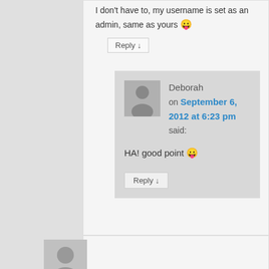I don't have to, my username is set as an admin, same as yours 😛
Reply ↓
Deborah on September 6, 2012 at 6:23 pm said:
HA! good point 😛
Reply ↓
[Figure (illustration): User avatar placeholder with head and body silhouette, gray on gray background]